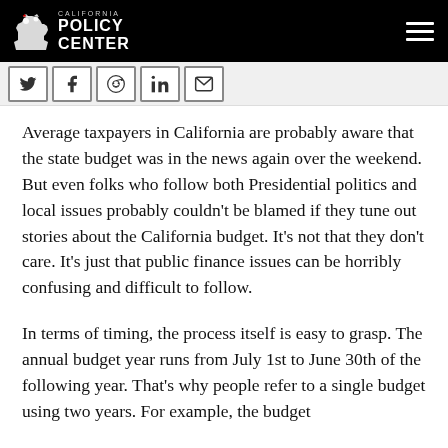California Policy Center
[Figure (logo): California Policy Center logo with bear silhouette on black background, with hamburger menu icon on the right]
[Figure (infographic): Social media share icons: Twitter, Facebook, Reddit, LinkedIn, Email]
Average taxpayers in California are probably aware that the state budget was in the news again over the weekend. But even folks who follow both Presidential politics and local issues probably couldn't be blamed if they tune out stories about the California budget. It's not that they don't care. It's just that public finance issues can be horribly confusing and difficult to follow.
In terms of timing, the process itself is easy to grasp. The annual budget year runs from July 1st to June 30th of the following year. That's why people refer to a single budget using two years. For example, the budget currently being discussed is the 2016-2017 budget.